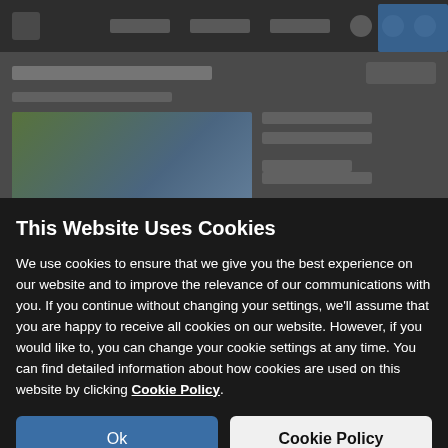[Figure (screenshot): Blurred website background showing a dark navigation bar, content area with a landscape/road thumbnail image on the left, and partially visible text and UI elements on the right.]
This Website Uses Cookies
We use cookies to ensure that we give you the best experience on our website and to improve the relevance of our communications with you. If you continue without changing your settings, we'll assume that you are happy to receive all cookies on our website. However, if you would like to, you can change your cookie settings at any time. You can find detailed information about how cookies are used on this website by clicking Cookie Policy.